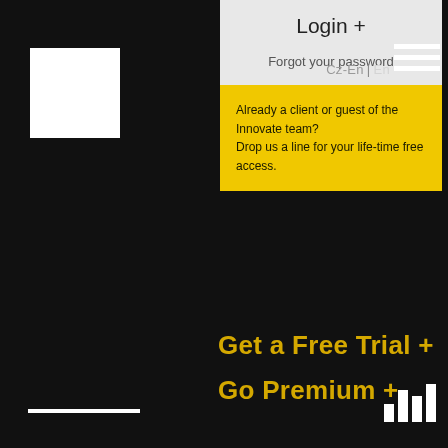[Figure (logo): White square logo box in upper left]
Login +
Forgot your password
Already a client or guest of the Innovate team? Drop us a line for your life-time free access.
Cz-En | En
[Figure (illustration): Hamburger menu icon (three white horizontal lines)]
Get a Free Trial +
Go Premium +
[Figure (illustration): Yellow outlined circle in center of dark background]
[Figure (illustration): White horizontal bar at bottom left]
[Figure (bar-chart): Small white bar chart icon at bottom right]